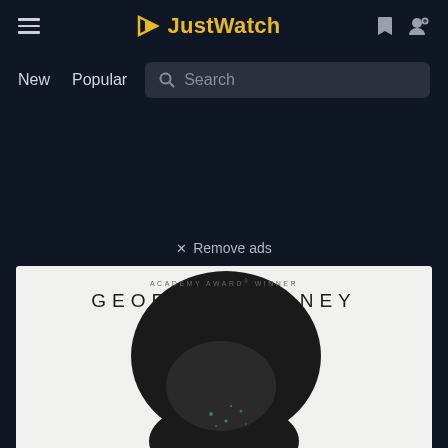JustWatch
New   Popular   Search
✕ Remove ads
[Figure (photo): Movie poster showing ACADEMY AWARD® WINNER GEORGE CLOONEY text above a dark silhouette of a man's head and face against a white/light background with constellation-like dots]